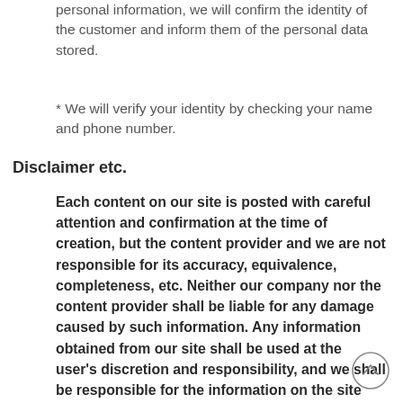personal information, we will confirm the identity of the customer and inform them of the personal data stored.
* We will verify your identity by checking your name and phone number.
Disclaimer etc.
Each content on our site is posted with careful attention and confirmation at the time of creation, but the content provider and we are not responsible for its accuracy, equivalence, completeness, etc. Neither our company nor the content provider shall be liable for any damage caused by such information. Any information obtained from our site shall be used at the user’s discretion and responsibility, and we shall be responsible for the information on the site linked from our site or any problems arising